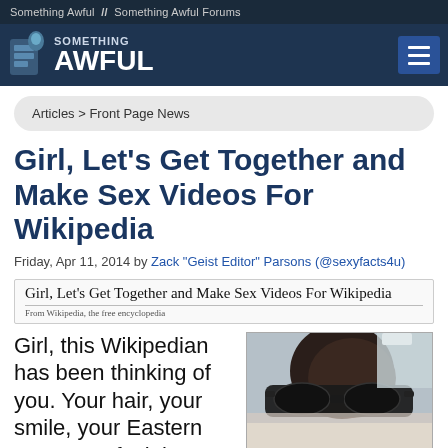Something Awful  //  Something Awful Forums
[Figure (logo): Something Awful logo with robot icon and navigation bar with hamburger menu]
Articles > Front Page News
Girl, Let's Get Together and Make Sex Videos For Wikipedia
Friday, Apr 11, 2014 by Zack "Geist Editor" Parsons (@sexyfacts4u)
Girl, Let's Get Together and Make Sex Videos For Wikipedia
From Wikipedia, the free encyclopedia
Girl, this Wikipedian has been thinking of you. Your hair, your smile, your Eastern European facial
[Figure (photo): Photo of a woman wearing sunglasses, dark hair, partial view]